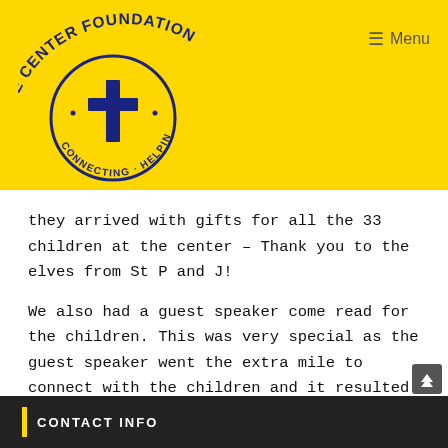[Figure (logo): Care Center Foundation logo with yellow background, circular text reading 'CARE CENTER FOUNDATION' in navy blue, a cross in the center, and curved arc above]
they arrived with gifts for all the 33 children at the center – Thank you to the elves from St P and J!
We also had a guest speaker come read for the children. This was very special as the guest speaker went the extra mile to connect with the children and it resulted in a very fun joyful experience. Thank you, Mary!
CONTACT INFO